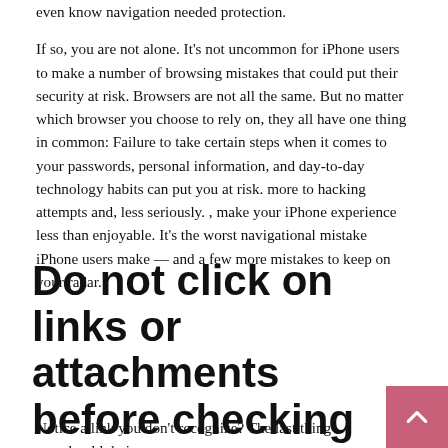even know navigation needed protection.

If so, you are not alone. It's not uncommon for iPhone users to make a number of browsing mistakes that could put their security at risk. Browsers are not all the same. But no matter which browser you choose to rely on, they all have one thing in common: Failure to take certain steps when it comes to your passwords, personal information, and day-to-day technology habits can put you at risk. more to hacking attempts and, less seriously. , make your iPhone experience less than enjoyable. It's the worst navigational mistake iPhone users make — and a few more mistakes to keep on your radar.
Do not click on links or attachments before checking sources
Notice a link you don't recognize? The last thing you should do is let someone visit at the bottom of a company. Chris Garcia's...